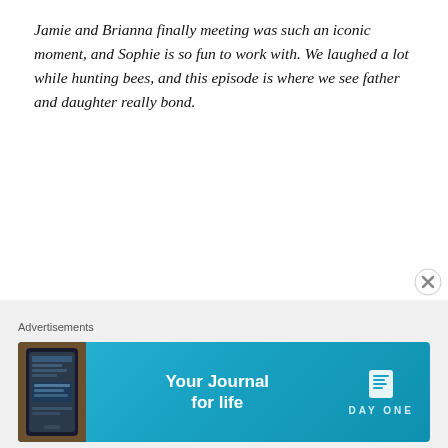Jamie and Brianna finally meeting was such an iconic moment, and Sophie is so fun to work with. We laughed a lot while hunting bees, and this episode is where we see father and daughter really bond.
SAM & DIANA'S PICK: Season 5, Episode 7
The Episode: Aye, the Regulator Rebellion takes a heartbreaking turn for the Frasers in “The Ballad of Roger Mac” as Jamie’s godfather Murtagh dies in battle. Sam says “The stakes are so high, and it was really difficult to say goodbye to our brilliant cast member Duncan.”
[Figure (photo): Partial image strip visible at bottom of content area showing outdoor/nature scene]
Advertisements
[Figure (screenshot): Day One app advertisement banner: 'Your Journal for life' with phone mockup and Day One logo on blue background]